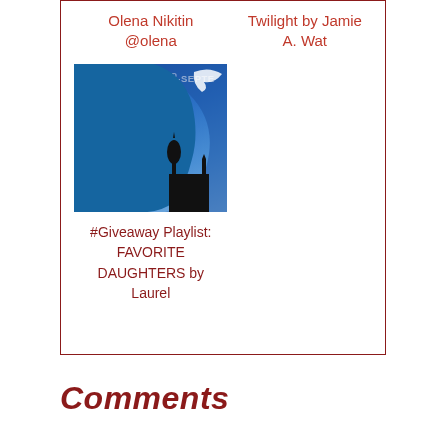Olena Nikitin
@olena
Twilight by Jamie A. Wat
[Figure (illustration): Book cover image with blue gradient silhouette background showing a profile of a face and a small dark building/tower at bottom. A banner at top reads 'UR | AUGUST 22ND-SEPTE'. A small apostrophe/comma mark on left side.]
#Giveaway Playlist: FAVORITE DAUGHTERS by Laurel
Comments